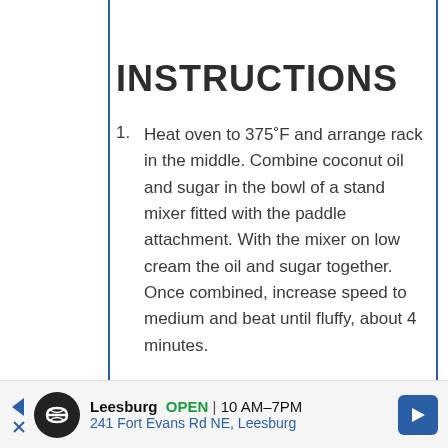INSTRUCTIONS
Heat oven to 375˚F and arrange rack in the middle. Combine coconut oil and sugar in the bowl of a stand mixer fitted with the paddle attachment. With the mixer on low cream the oil and sugar together. Once combined, increase speed to medium and beat until fluffy, about 4 minutes.
Leesburg  OPEN  10 AM–7PM  241 Fort Evans Rd NE, Leesburg